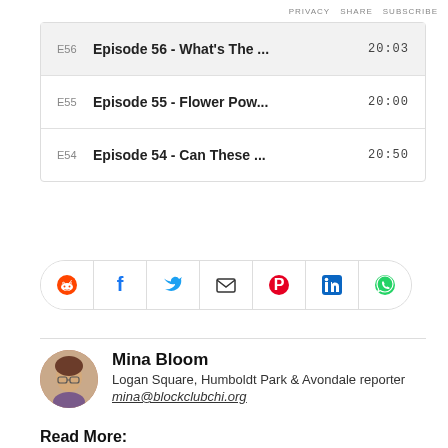PRIVACY  SHARE  SUBSCRIBE
| EP | Title | Duration |
| --- | --- | --- |
| E56 | Episode 56 - What's The ... | 20:03 |
| E55 | Episode 55 - Flower Pow... | 20:00 |
| E54 | Episode 54 - Can These ... | 20:50 |
[Figure (infographic): Social sharing icons bar: Reddit, Facebook, Twitter, Email, Pinterest, LinkedIn, WhatsApp]
Mina Bloom
Logan Square, Humboldt Park & Avondale reporter
mina@blockclubchi.org
Read More: